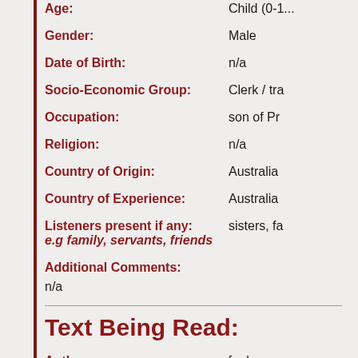Age: Child (0-1...)
Gender: Male
Date of Birth: n/a
Socio-Economic Group: Clerk / tra...
Occupation: son of Pr...
Religion: n/a
Country of Origin: Australia
Country of Experience: Australia
Listeners present if any: e.g family, servants, friends | sisters, fa...
Additional Comments: n/a
Text Being Read:
Author: [unknow...